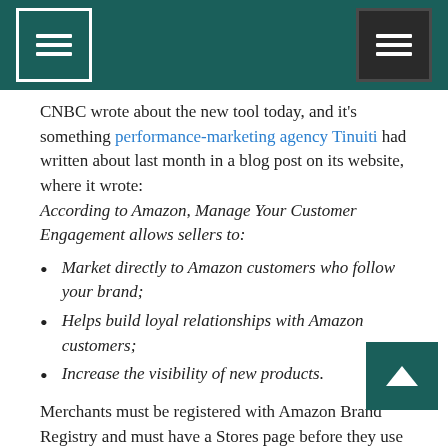[Navigation header bar with menu icons]
CNBC wrote about the new tool today, and it’s something performance-marketing agency Tinuiti had written about last month in a blog post on its website, where it wrote: According to Amazon, Manage Your Customer Engagement allows sellers to:
Market directly to Amazon customers who follow your brand;
Helps build loyal relationships with Amazon customers;
Increase the visibility of new products.
Merchants must be registered with Amazon Brand Registry and must have a Stores page before they use MYCE to market to Amazon customers.
“Manage Your Customer Engagement (MYCE) lets you